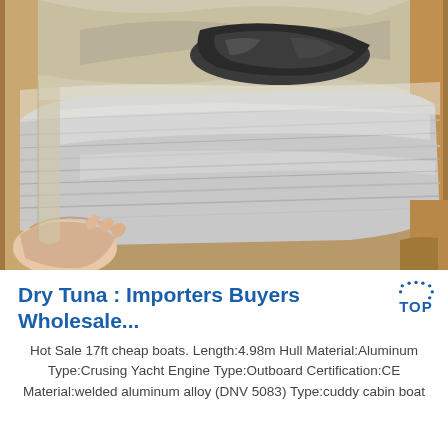[Figure (photo): Photo of a wrapped aluminum boat hull in packaging — shiny metallic sheets wrapped in plastic/transparent film inside a wooden crate. A person's hand is visible at the bottom left handling the packaging.]
Dry Tuna : Importers Buyers Wholesale...
Hot Sale 17ft cheap boats. Length:4.98m Hull Material:Aluminum Type:Crusing Yacht Engine Type:Outboard Certification:CE Material:welded aluminum alloy (DNV 5083) Type:cuddy cabin boat